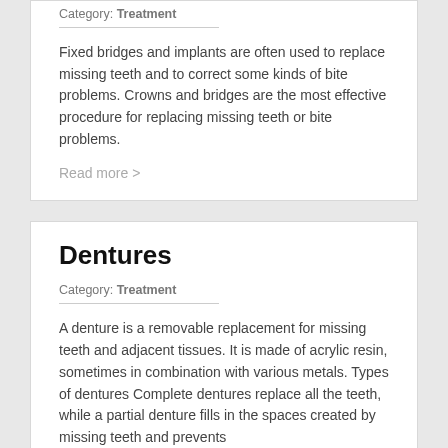Category: Treatment
Fixed bridges and implants are often used to replace missing teeth and to correct some kinds of bite problems. Crowns and bridges are the most effective procedure for replacing missing teeth or bite problems.
Read more >
Dentures
Category: Treatment
A denture is a removable replacement for missing teeth and adjacent tissues. It is made of acrylic resin, sometimes in combination with various metals. Types of dentures Complete dentures replace all the teeth, while a partial denture fills in the spaces created by missing teeth and prevents
Read more >